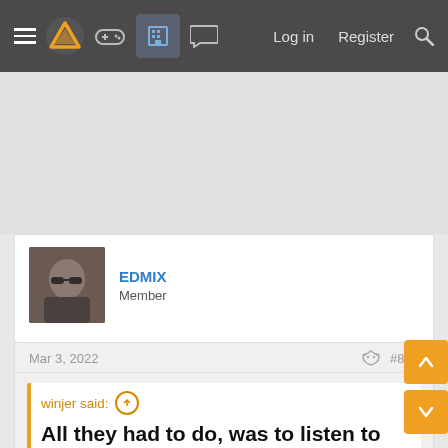≡ [logo] [gamepad] [building] [chat]   Log in   Register   🔍
[Figure (screenshot): Gray advertisement space area]
EDMIX
Member
Mar 3, 2022   #803
winjer said: ⊕

All they had to do, was to listen to gamers. Instead they called people toxic and threatened to close forums.
Now the game is practically dead, so they ask for help from